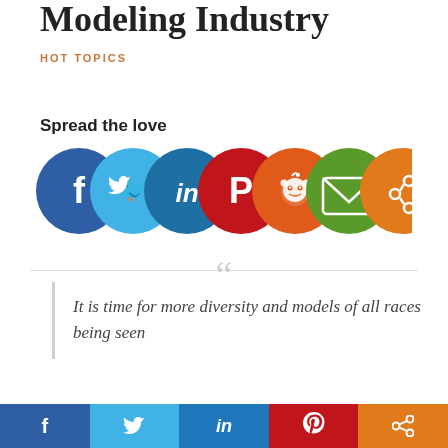Modeling Industry
HOT TOPICS
Spread the love
[Figure (infographic): Row of seven circular social media share buttons: Facebook (dark blue), Twitter (light blue), LinkedIn (teal/dark blue), Pinterest (red), Reddit (orange-red), Email (green), Share (orange)]
It is time for more diversity and models of all races being seen
These are the words that will greet you upon
[Figure (infographic): Footer social sharing bar with five buttons: Facebook (blue), Twitter (light blue), LinkedIn (dark blue), Pinterest (red), Share (orange)]